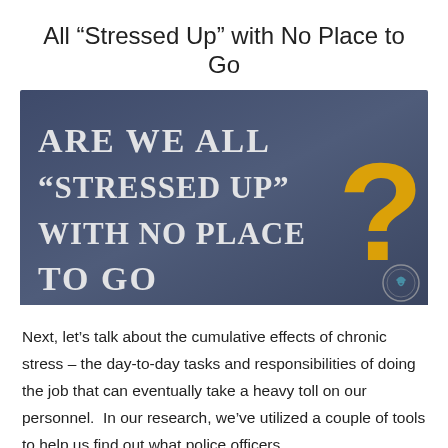All “Stressed Up” with No Place to Go
[Figure (photo): Chalkboard-style graphic with white handwritten text reading 'ARE WE ALL "STRESSED UP" WITH NO PLACE TO GO?' and a large yellow question mark on the right side. A small circular badge/seal is in the bottom right corner.]
Next, let’s talk about the cumulative effects of chronic stress – the day-to-day tasks and responsibilities of doing the job that can eventually take a heavy toll on our personnel.  In our research, we’ve utilized a couple of tools to help us find out what police officers